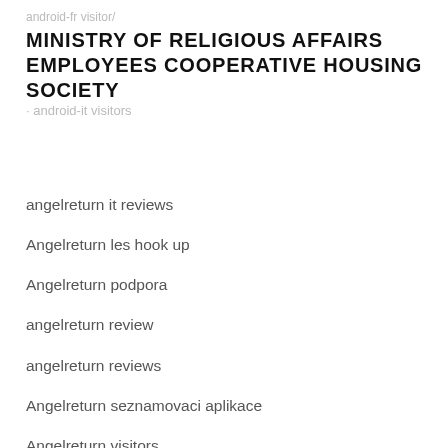android-fr visitor/
MINISTRY OF RELIGIOUS AFFAIRS EMPLOYEES COOPERATIVE HOUSING SOCIETY
· android-it visitors
angelreturn it reviews
Angelreturn les hook up
Angelreturn podpora
angelreturn review
angelreturn reviews
Angelreturn seznamovaci aplikace
Angelreturn visitors
angelreturn-inceleme review
Ann Arbor+MI+Michigan his comment is here
Ann Arbor+MI+Michigan hookup sites